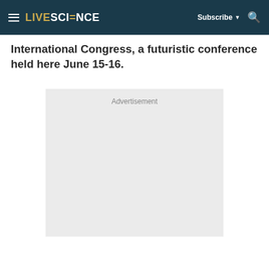LIVESCIENCE  Subscribe  🔍
International Congress, a futuristic conference held here June 15-16.
[Figure (other): Advertisement placeholder box with light gray background and 'Advertisement' label text]